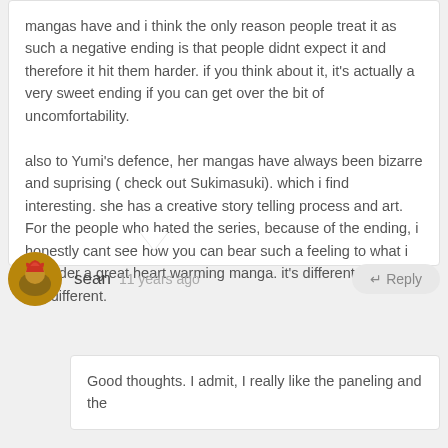mangas have and i think the only reason people treat it as such a negative ending is that people didnt expect it and therefore it hit them harder. if you think about it, it's actually a very sweet ending if you can get over the bit of uncomfortability.

also to Yumi's defence, her mangas have always been bizarre and suprising ( check out Sukimasuki). which i find interesting. she has a creative story telling process and art. For the people who hated the series, because of the ending, i honestly cant see how you can bear such a feeling to what i consider a great heart warming manga. it's different.... but i like different.
sean   11 years ago
Good thoughts. I admit, I really like the paneling and the